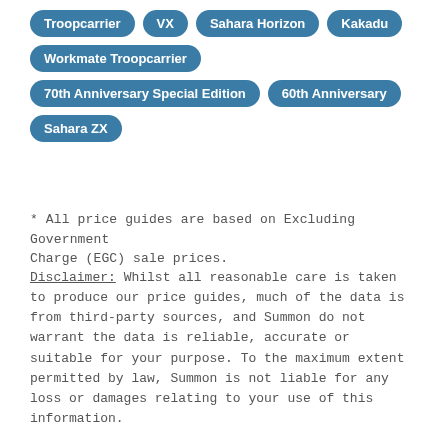Troopcarrier
VX
Sahara Horizon
Kakadu
Workmate Troopcarrier
70th Anniversary Special Edition
60th Anniversary
Sahara ZX
* All price guides are based on Excluding Government Charge (EGC) sale prices.
Disclaimer: Whilst all reasonable care is taken to produce our price guides, much of the data is from third-party sources, and Summon do not warrant the data is reliable, accurate or suitable for your purpose. To the maximum extent permitted by law, Summon is not liable for any loss or damages relating to your use of this information.
[Figure (photo): Partial view of a dark blue/grey vehicle wheel/tyre at the bottom of the page]